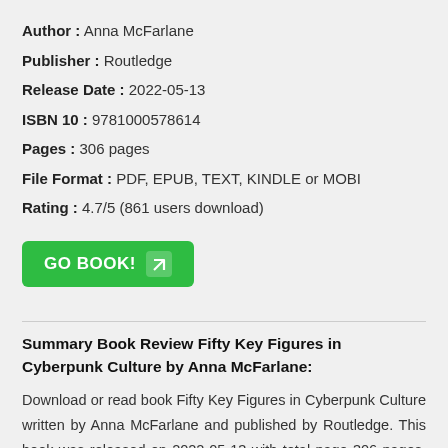Author : Anna McFarlane
Publisher : Routledge
Release Date : 2022-05-13
ISBN 10 : 9781000578614
Pages : 306 pages
File Format : PDF, EPUB, TEXT, KINDLE or MOBI
Rating : 4.7/5 (861 users download)
[Figure (other): Green GO BOOK! button with arrow icon]
Summary Book Review Fifty Key Figures in Cyberpunk Culture by Anna McFarlane:
Download or read book Fifty Key Figures in Cyberpunk Culture written by Anna McFarlane and published by Routledge. This book was released on 2022-05-13 with total page 306 pages. Available in PDF, EPUB and Kindle. Book excerpt: A collection of ongoing essay...